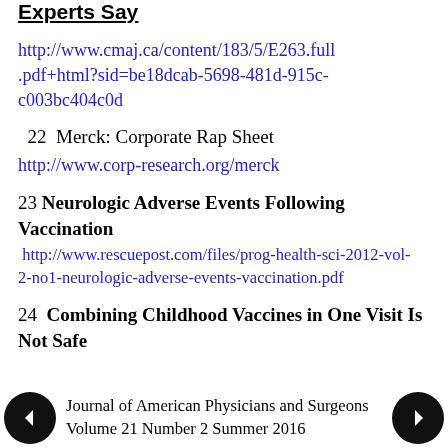Experts Say
http://www.cmaj.ca/content/183/5/E263.full.pdf+html?sid=be18dcab-5698-481d-915c-c003bc404c0d
22  Merck: Corporate Rap Sheet http://www.corp-research.org/merck
23 Neurologic Adverse Events Following Vaccination http://www.rescuepost.com/files/prog-health-sci-2012-vol-2-no1-neurologic-adverse-events-vaccination.pdf
24  Combining Childhood Vaccines in One Visit Is Not Safe
Journal of American Physicians and Surgeons Volume 21 Number 2 Summer 2016